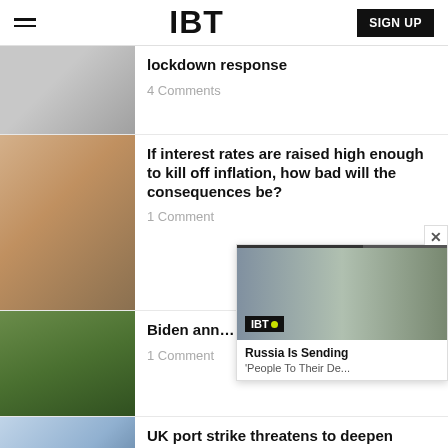IBT  SIGN UP
lockdown response
4 Comments
If interest rates are raised high enough to kill off inflation, how bad will the consequences be?
1 Comment
Biden ann… in Ukrain…
1 Comment
[Figure (screenshot): IBT video overlay showing Russia Is Sending 'People To Their De...' with soldiers in background]
UK port strike threatens to deepen supply chain and